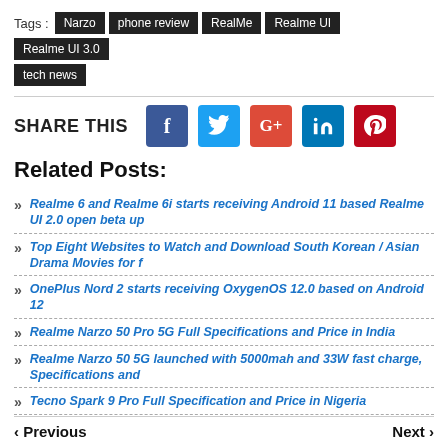Tags : Narzo  phone review  RealMe  Realme UI  Realme UI 3.0  tech news
[Figure (infographic): Social share buttons: Facebook (dark blue), Twitter (light blue), Google+ (red-orange), LinkedIn (blue), Pinterest (red)]
Related Posts:
Realme 6 and Realme 6i starts receiving Android 11 based Realme UI 2.0 open beta up
Top Eight Websites to Watch and Download South Korean / Asian Drama Movies for f
OnePlus Nord 2 starts receiving OxygenOS 12.0 based on Android 12
Realme Narzo 50 Pro 5G Full Specifications and Price in India
Realme Narzo 50 5G launched with 5000mah and 33W fast charge, Specifications and
Tecno Spark 9 Pro Full Specification and Price in Nigeria
< Previous    Next >